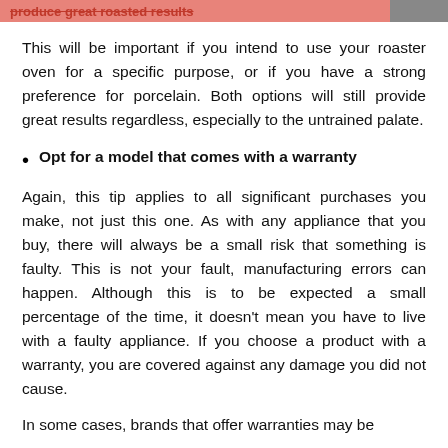produce great roasted results
This will be important if you intend to use your roaster oven for a specific purpose, or if you have a strong preference for porcelain. Both options will still provide great results regardless, especially to the untrained palate.
Opt for a model that comes with a warranty
Again, this tip applies to all significant purchases you make, not just this one. As with any appliance that you buy, there will always be a small risk that something is faulty. This is not your fault, manufacturing errors can happen. Although this is to be expected a small percentage of the time, it doesn’t mean you have to live with a faulty appliance. If you choose a product with a warranty, you are covered against any damage you did not cause.
In some cases, brands that offer warranties may be